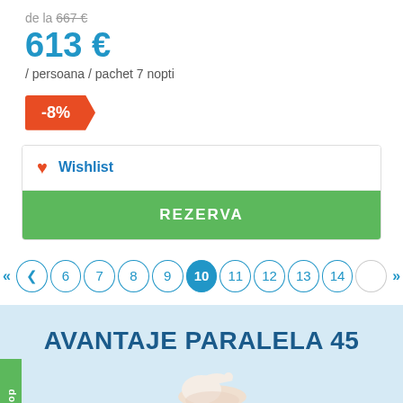de la 667 €
613 €
/ persoana / pachet 7 nopti
-8%
Wishlist
REZERVA
« ‹ 6 7 8 9 10 11 12 13 14 › »
AVANTAJE PARALELA 45